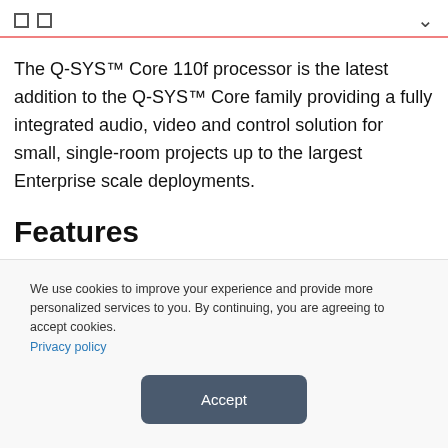□□ ✓
The Q-SYS™ Core 110f processor is the latest addition to the Q-SYS™ Core family providing a fully integrated audio, video and control solution for small, single-room projects up to the largest Enterprise scale deployments.
Features
We use cookies to improve your experience and provide more personalized services to you. By continuing, you are agreeing to accept cookies. Privacy policy
Accept